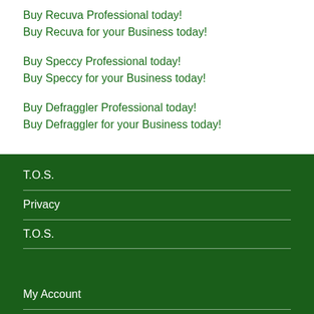Buy Recuva Professional today!
Buy Recuva for your Business today!
Buy Speccy Professional today!
Buy Speccy for your Business today!
Buy Defraggler Professional today!
Buy Defraggler for your Business today!
T.O.S.
Privacy
T.O.S.
My Account
Checkout
Cart